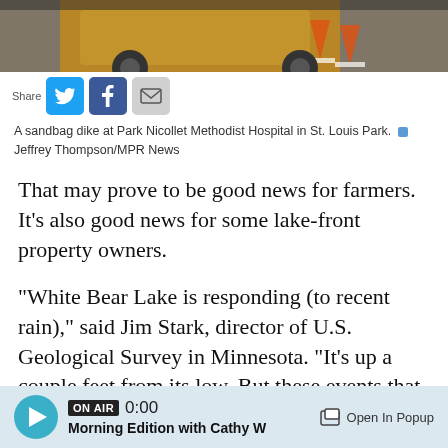[Figure (photo): Partial view of a yellow vehicle or equipment, likely related to flood response at Park Nicollet Methodist Hospital]
A sandbag dike at Park Nicollet Methodist Hospital in St. Louis Park.  Jeffrey Thompson/MPR News
That may prove to be good news for farmers. It's also good news for some lake-front property owners.
"White Bear Lake is responding (to recent rain)," said Jim Stark, director of U.S. Geological Survey in Minnesota. "It's up a couple feet from its low. But these events that we have going on right now really are temporary with respect to our major groundwater systems. We'll continue to be concerned about sustainability in those aquifers
ON AIR 0:00 Morning Edition with Cathy W  Open In Popup